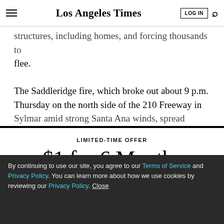Los Angeles Times
structures, including homes, and forcing thousands to flee.
The Saddleridge fire, which broke out about 9 p.m. Thursday on the north side of the 210 Freeway in Sylmar amid strong Santa Ana winds, spread rapidly
LIMITED-TIME OFFER
$1 for 6 Months
SUBSCRIBE NOW
By continuing to use our site, you agree to our Terms of Service and Privacy Policy. You can learn more about how we use cookies by reviewing our Privacy Policy. Close